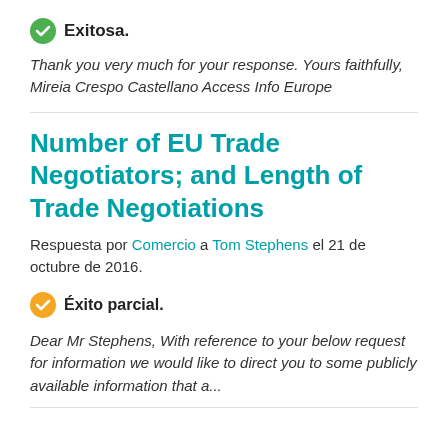Exitosa.
Thank you very much for your response. Yours faithfully, Mireia Crespo Castellano Access Info Europe
Number of EU Trade Negotiators; and Length of Trade Negotiations
Respuesta por Comercio a Tom Stephens el 21 de octubre de 2016.
Éxito parcial.
Dear Mr Stephens,   With reference to your below request for information we would like to direct you to some publicly available information that a...